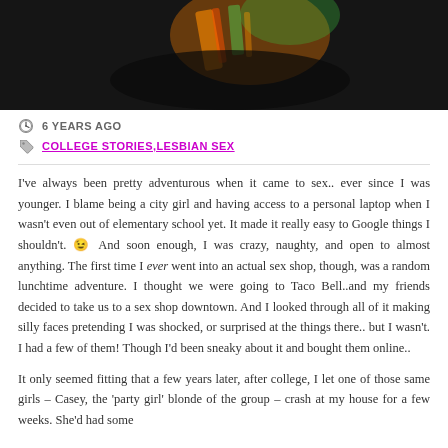[Figure (photo): Dark photo showing neon/reflective orange and green safety vest or gear against a dark background with orange light.]
🕐 6 YEARS AGO
🏷 COLLEGE STORIES,LESBIAN SEX
I've always been pretty adventurous when it came to sex.. ever since I was younger. I blame being a city girl and having access to a personal laptop when I wasn't even out of elementary school yet. It made it really easy to Google things I shouldn't. 😉 And soon enough, I was crazy, naughty, and open to almost anything. The first time I ever went into an actual sex shop, though, was a random lunchtime adventure. I thought we were going to Taco Bell..and my friends decided to take us to a sex shop downtown. And I looked through all of it making silly faces pretending I was shocked, or surprised at the things there.. but I wasn't. I had a few of them! Though I'd been sneaky about it and bought them online..
It only seemed fitting that a few years later, after college, I let one of those same girls – Casey, the 'party girl' blonde of the group – crash at my house for a few weeks. She'd had some